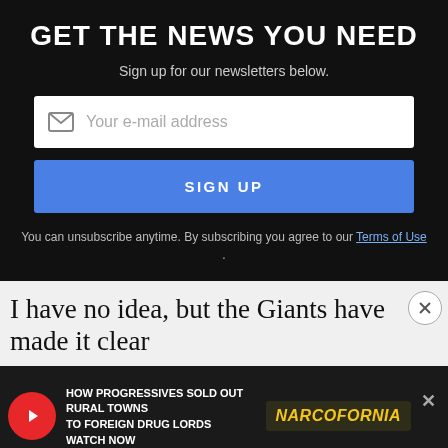GET THE NEWS YOU NEED
Sign up for our newsletters below.
[Figure (screenshot): Email input field with envelope icon and placeholder text 'Your e-mail address']
[Figure (screenshot): Blue SIGN UP button]
You can unsubscribe anytime. By subscribing you agree to our Terms of Use.
I have no idea, but the Giants have made it clear
they definitely don't think they did anything wrong. The point is, there weren't proof of anything.
[Figure (screenshot): Advertisement banner: HOW PROGRESSIVES SOLD OUT RURAL TOWNS TO FOREIGN DRUG LORDS - NARCOFORNIA - WATCH NOW]